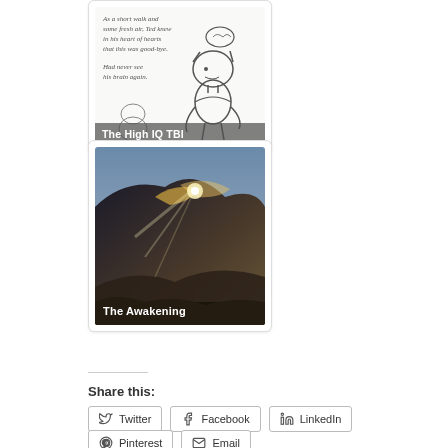[Figure (illustration): Card with illustrated cartoon character (head open at top) with handwritten text. Overlay label reads 'The High IQ TBI']
[Figure (photo): Card with photo of dramatic clouds with sunlight breaking through. Overlay label reads 'The Awakening']
Share this:
Twitter
Facebook
LinkedIn
Pinterest
Email